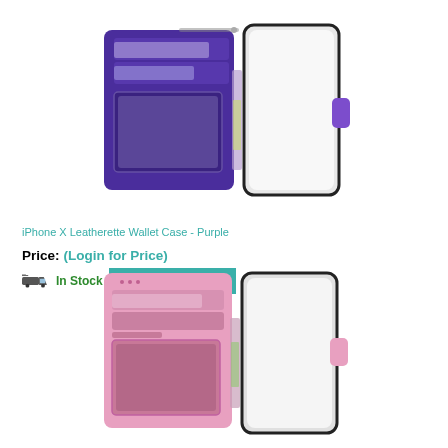[Figure (photo): Purple iPhone X leatherette wallet case shown open, displaying card slots, bill pocket, and phone holder with magnetic clasp]
iPhone X Leatherette Wallet Case - Purple
Price: (Login for Price)
In Stock  + ADD TO CART
[Figure (photo): Pink iPhone X leatherette wallet case shown open, displaying card slots, bill pocket, and phone holder]